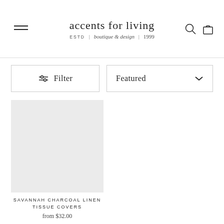accents for living — ESTD | boutique & design | 1999
Filter
Featured
[Figure (photo): Product image placeholder for Savannah Charcoal Linen Tissue Covers]
SAVANNAH CHARCOAL LINEN TISSUE COVERS
from $32.00